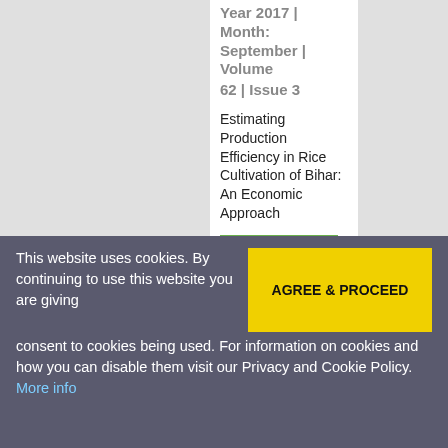Year 2017 | Month: September | Volume 62 | Issue 3
Estimating Production Efficiency in Rice Cultivation of Bihar: An Economic Approach
10.5958/0976-4666.2017.00044.4
Abstract | -
This website uses cookies. By continuing to use this website you are giving consent to cookies being used. For information on cookies and how you can disable them visit our Privacy and Cookie Policy. More info